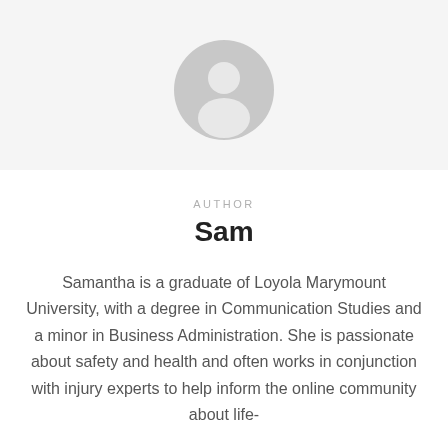[Figure (illustration): Generic user/author avatar icon: light gray circle with a white silhouette of a person (head and shoulders)]
AUTHOR
Sam
Samantha is a graduate of Loyola Marymount University, with a degree in Communication Studies and a minor in Business Administration. She is passionate about safety and health and often works in conjunction with injury experts to help inform the online community about life-